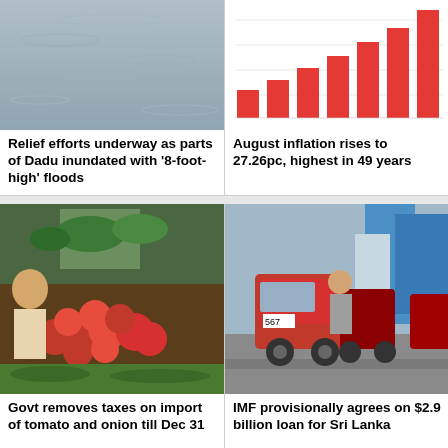[Figure (photo): Flooded water surface, grey tone, aerial or wide view of floodwaters — Dadu floods]
Relief efforts underway as parts of Dadu inundated with '8-foot-high' floods
[Figure (bar-chart): August inflation rises to 27.26pc, highest in 49 years]
August inflation rises to 27.26pc, highest in 49 years
[Figure (photo): Market vendor arranging vegetables — tomatoes, green vegetables at an outdoor market stall]
Govt removes taxes on import of tomato and onion till Dec 31
[Figure (photo): Row of auto-rickshaws (tuk-tuks) on a street in Sri Lanka, people pushing or checking vehicles]
IMF provisionally agrees on $2.9 billion loan for Sri Lanka
[Figure (photo): Partial view of people, bottom strip preview of next news item]
[Figure (photo): Partial view of people, bottom strip preview of next news item]